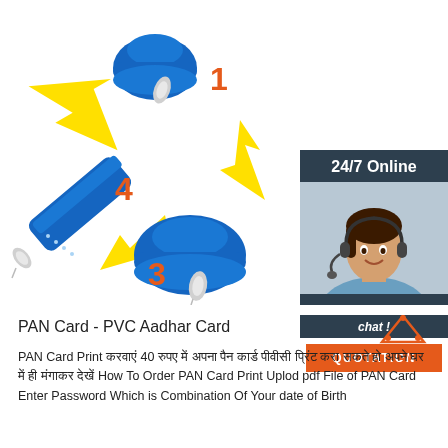[Figure (infographic): Blue silicone wristband shown in 4 steps cycle with yellow arrows and orange step numbers 1-4, with a 24/7 Online customer support panel on the right showing a smiling agent with headset, a 'Click here for free chat!' message, and an orange QUOTATION button]
PAN Card - PVC Aadhar Card
PAN Card Print करवाएं 40 रुपए में अपना पैन कार्ड पीवीसी प्रिंट करा सकते हो अपने घर में ही मंगाकर देखें How To Order PAN Card Print Uplod pdf File of PAN Card Enter Password Which is Combination Of Your date of Birth